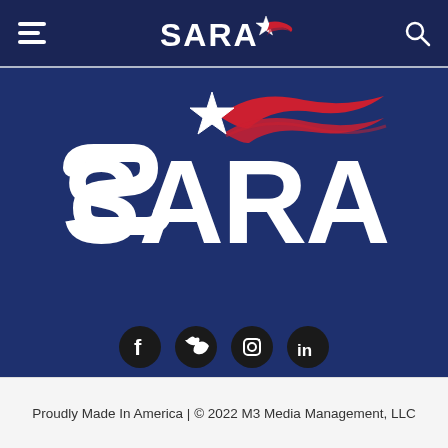SARA (logo/navigation header)
[Figure (logo): SARA logo on dark navy blue background: large white bold letters 'SARA' with a white star and red flag/wave swoosh above. Social media icons (Facebook, Twitter, Instagram, LinkedIn) shown as dark circles below the logo.]
Proudly Made In America | © 2022 M3 Media Management, LLC